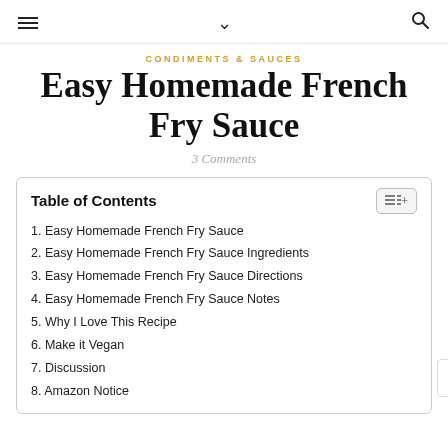≡  ∨  🔍
CONDIMENTS & SAUCES
Easy Homemade French Fry Sauce
3 Comments
| Table of Contents |
| --- |
| 1. Easy Homemade French Fry Sauce |
| 2. Easy Homemade French Fry Sauce Ingredients |
| 3. Easy Homemade French Fry Sauce Directions |
| 4. Easy Homemade French Fry Sauce Notes |
| 5. Why I Love This Recipe |
| 6. Make it Vegan |
| 7. Discussion |
| 8. Amazon Notice |